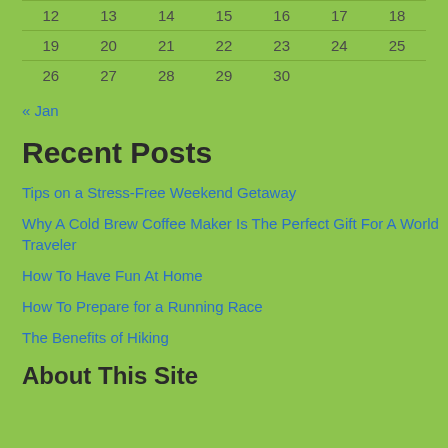| 12 | 13 | 14 | 15 | 16 | 17 | 18 |
| 19 | 20 | 21 | 22 | 23 | 24 | 25 |
| 26 | 27 | 28 | 29 | 30 |  |  |
« Jan
Recent Posts
Tips on a Stress-Free Weekend Getaway
Why A Cold Brew Coffee Maker Is The Perfect Gift For A World Traveler
How To Have Fun At Home
How To Prepare for a Running Race
The Benefits of Hiking
About This Site